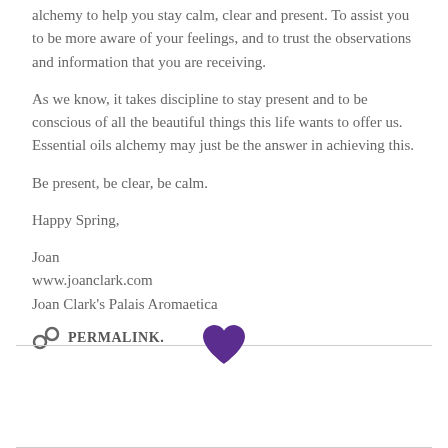alchemy to help you stay calm, clear and present. To assist you to be more aware of your feelings, and to trust the observations and information that you are receiving.
As we know, it takes discipline to stay present and to be conscious of all the beautiful things this life wants to offer us. Essential oils alchemy may just be the answer in achieving this.
Be present, be clear, be calm.
Happy Spring,
Joan
www.joanclark.com
Joan Clark's Palais Aromaetica
PERMALINK.
[Figure (illustration): Purple heart icon centered on a horizontal divider line]